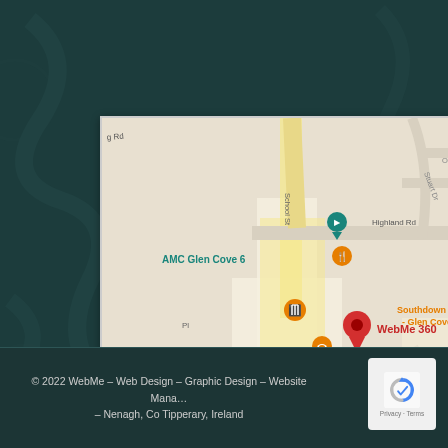[Figure (map): Google Maps screenshot showing Glen Cove area with a red pin labeled 'WebMe 360'. Nearby landmarks include AMC Glen Cove 6, Panera Bread, McDonald's, Southdown C Glen Cove. Roads include School St, Highland Rd, Hendrick Ave, Pratt Blvd, High Ave, Lindbergh Ave, Continental Pl, Sunset. Location labeled 'Glen Cove'.]
© 2022 WebMe – Web Design – Graphic Design – Website Management – Nenagh, Co Tipperary, Ireland